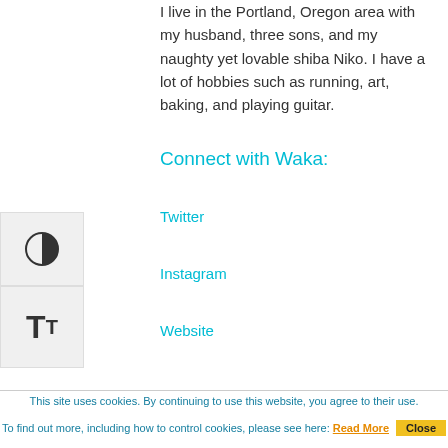I live in the Portland, Oregon area with my husband, three sons, and my naughty yet lovable shiba Niko. I have a lot of hobbies such as running, art, baking, and playing guitar.
Connect with Waka:
Twitter
Instagram
Website
This site uses cookies. By continuing to use this website, you agree to their use. To find out more, including how to control cookies, please see here: Read More  Close